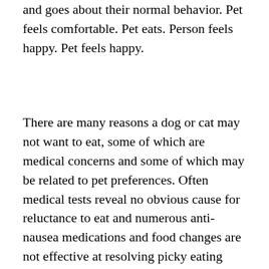and goes about their normal behavior. Pet feels comfortable. Pet eats. Person feels happy. Pet feels happy.
There are many reasons a dog or cat may not want to eat, some of which are medical concerns and some of which may be related to pet preferences. Often medical tests reveal no obvious cause for reluctance to eat and numerous anti-nausea medications and food changes are not effective at resolving picky eating behaviors. Based on the information above, once we have ruled out a medical cause for poor appetite, we have to also consider how our own